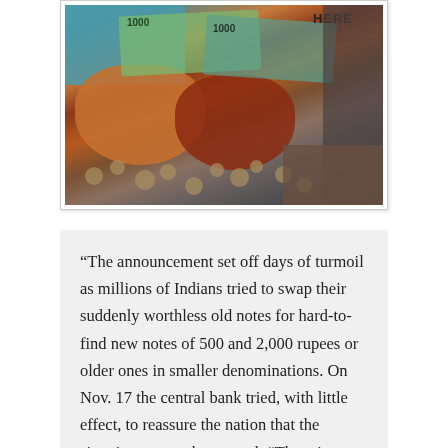[Figure (photo): A photograph showing hands handling Indian currency notes (1000 rupee notes) and coins, with a sign partially visible reading 'HERE' — related to currency exchange during India's demonetization.]
“The announcement set off days of turmoil as millions of Indians tried to swap their suddenly worthless old notes for hard-to-find new notes of 500 and 2,000 rupees or older ones in smaller denominations. On Nov. 17 the central bank tried, with little effect, to reassure the nation that the situation was under control. “There is sufficient supply of notes,” the Reserve Bank of India said in